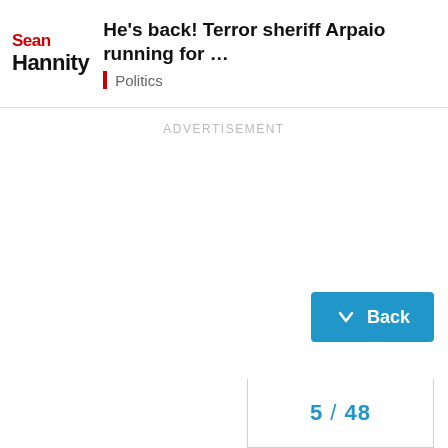Sean Hannity | He's back! Terror sheriff Arpaio running for ... | Politics
ADVERTISEMENT
Back
5 / 48